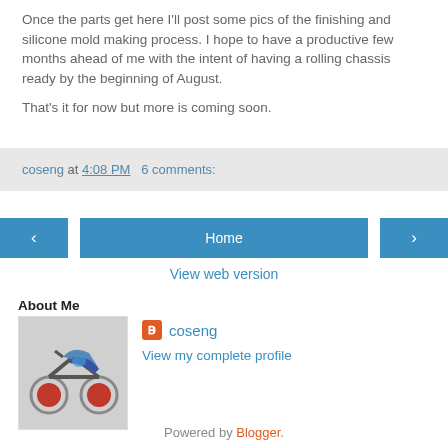Once the parts get here I'll post some pics of the finishing and silicone mold making process. I hope to have a productive few months ahead of me with the intent of having a rolling chassis ready by the beginning of August.

That's it for now but more is coming soon.
coseng at 4:08 PM   6 comments:
‹  Home  ›
View web version
About Me
[Figure (photo): Photo of a model motorcycle/racing bike]
coseng
View my complete profile
Powered by Blogger.